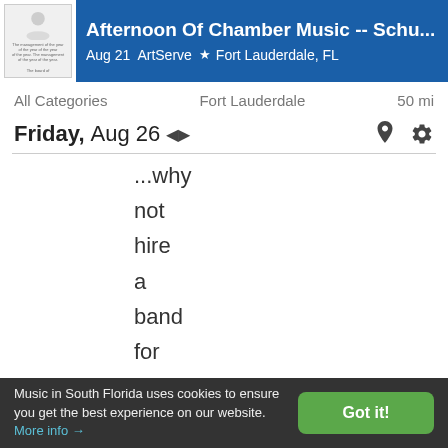[Figure (screenshot): Event banner for 'Afternoon Of Chamber Music -- Schu...' on Aug 21 at ArtServe, Fort Lauderdale, FL. Blue background with white text and a thumbnail image.]
All Categories    Fort Lauderdale    50 mi
Friday, Aug 26
...why not hire a band for your next special event. Get your party grooving on the d...
Music in South Florida uses cookies to ensure you get the best experience on our website. More info →   Got it!